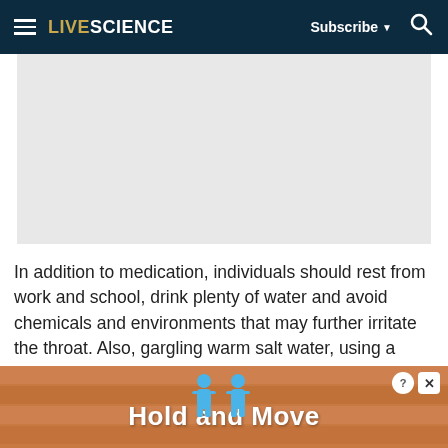LIVESCIENCE — Subscribe — Search
[Figure (photo): Gray placeholder image rectangle]
In addition to medication, individuals should rest from work and school, drink plenty of water and avoid chemicals and environments that may further irritate the throat. Also, gargling warm salt water, using a humidifier and eating soft and cold foods can soothe the throat.
[Figure (other): Advertisement banner: Hold and Move, with blue figures and wooden slat background]